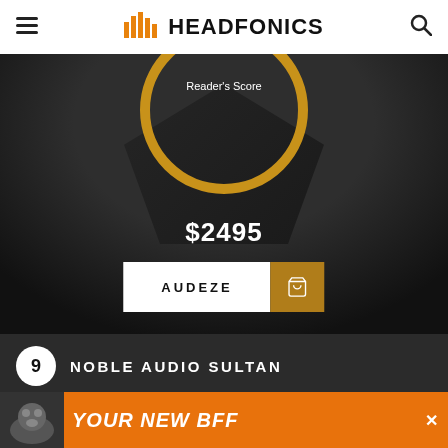HEADFONICS
Reader's Score
$2495
AUDEZE
9 NOBLE AUDIO SULTAN
I honestly cannot pick any holes in the Sultan's performance, at least from a personal perspective. It is a
[Figure (infographic): Advertisement banner with dog image and text YOUR NEW BFF on orange background]